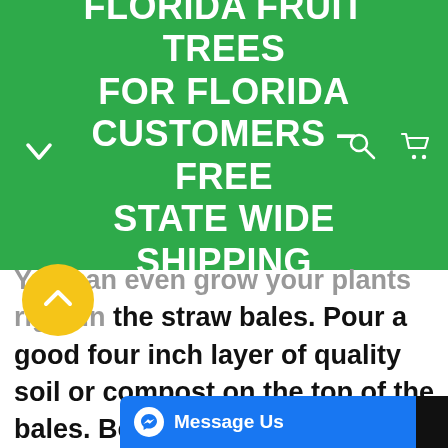FLORIDA FRUIT TREES FOR FLORIDA CUSTOMERS – FREE STATE WIDE SHIPPING
You can even grow your plants right in the straw bales. Pour a good four inch layer of quality soil or compost on the top of the bales. Be sure to water the soil well and the following day add some organic worm castings, blood meal or your favorite organic soil amendments. Water thoroughly again and in just another day or so you can begin growing really go...